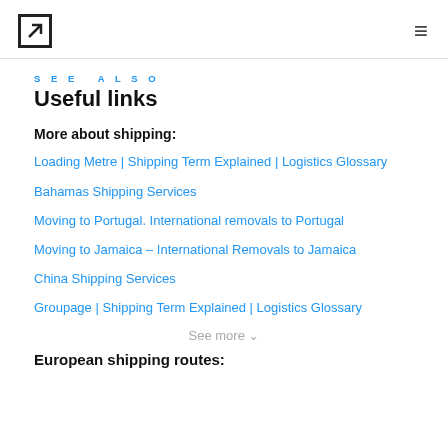[Logo icon] [Hamburger menu]
SEE ALSO
Useful links
More about shipping:
Loading Metre | Shipping Term Explained | Logistics Glossary
Bahamas Shipping Services
Moving to Portugal. International removals to Portugal
Moving to Jamaica – International Removals to Jamaica
China Shipping Services
Groupage | Shipping Term Explained | Logistics Glossary
See more ∨
European shipping routes: